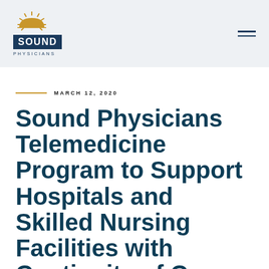[Figure (logo): Sound Physicians logo with sun graphic above a dark navy box with white SOUND text, and PHYSICIANS text beneath]
MARCH 12, 2020
Sound Physicians Telemedicine Program to Support Hospitals and Skilled Nursing Facilities with Continuity of Care